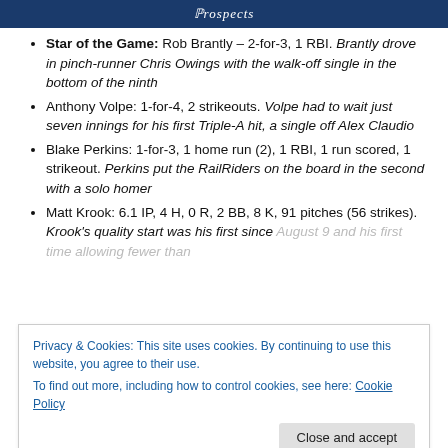Prospects
Star of the Game: Rob Brantly – 2-for-3, 1 RBI. Brantly drove in pinch-runner Chris Owings with the walk-off single in the bottom of the ninth
Anthony Volpe: 1-for-4, 2 strikeouts. Volpe had to wait just seven innings for his first Triple-A hit, a single off Alex Claudio
Blake Perkins: 1-for-3, 1 home run (2), 1 RBI, 1 run scored, 1 strikeout. Perkins put the RailRiders on the board in the second with a solo homer
Matt Krook: 6.1 IP, 4 H, 0 R, 2 BB, 8 K, 91 pitches (56 strikes). Krook's quality start was his first since August 9 and his first time allowing fewer than...
Privacy & Cookies: This site uses cookies. By continuing to use this website, you agree to their use. To find out more, including how to control cookies, see here: Cookie Policy
Tyler Duffey: 1 IP, 2 H, 0 R, 0 BB, 0 K, 17 pitches (10...